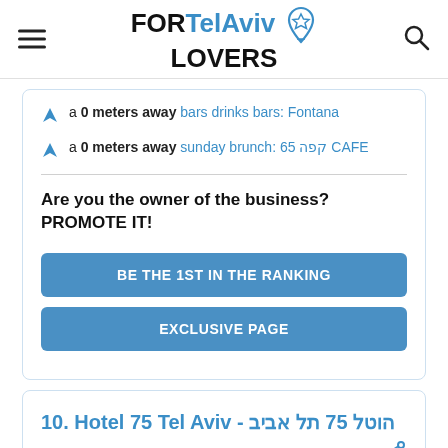FOR Tel Aviv LOVERS
a 0 meters away bars drinks bars: Fontana
a 0 meters away sunday brunch: 65 קפה CAFE
Are you the owner of the business? PROMOTE IT!
BE THE 1ST IN THE RANKING
EXCLUSIVE PAGE
10. Hotel 75 Tel Aviv - הוטל 75 תל אביב